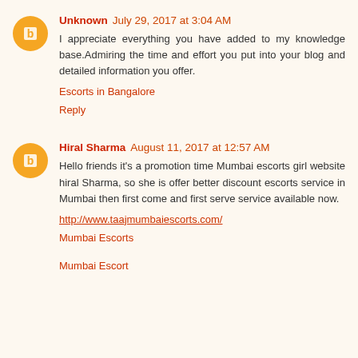Unknown July 29, 2017 at 3:04 AM
I appreciate everything you have added to my knowledge base.Admiring the time and effort you put into your blog and detailed information you offer.
Escorts in Bangalore
Reply
Hiral Sharma August 11, 2017 at 12:57 AM
Hello friends it's a promotion time Mumbai escorts girl website hiral Sharma, so she is offer better discount escorts service in Mumbai then first come and first serve service available now.
http://www.taajmumbaiescorts.com/
Mumbai Escorts
Mumbai Escort